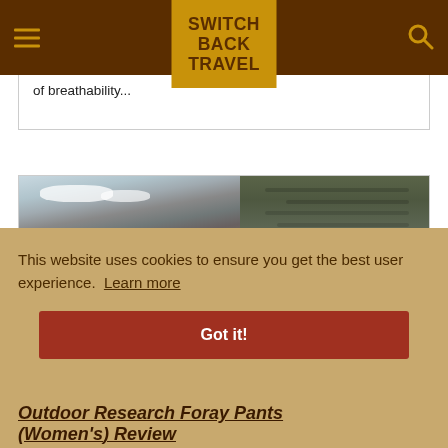SWITCH BACK TRAVEL
of breathability...
[Figure (photo): A person wearing olive/dark green pants standing in front of a mountain scene with snow-capped rocky peaks and overcast sky]
This website uses cookies to ensure you get the best user experience. Learn more
Got it!
Outdoor Research Foray Pants (Women's) Review